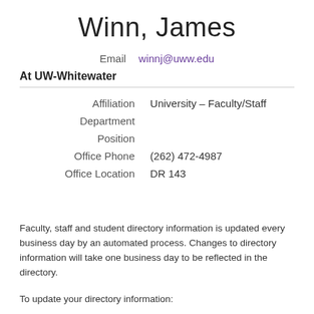Winn, James
Email   winnj@uww.edu
At UW-Whitewater
|  |  |
| --- | --- |
| Affiliation | University – Faculty/Staff |
| Department |  |
| Position |  |
| Office Phone | (262) 472-4987 |
| Office Location | DR 143 |
Faculty, staff and student directory information is updated every business day by an automated process. Changes to directory information will take one business day to be reflected in the directory.
To update your directory information: